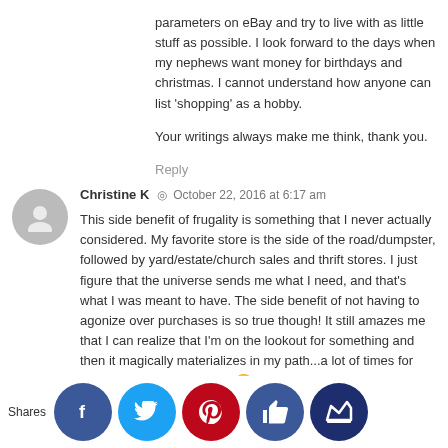parameters on eBay and try to live with as little stuff as possible. I look forward to the days when my nephews want money for birthdays and christmas. I cannot understand how anyone can list 'shopping' as a hobby.

Your writings always make me think, thank you.
Reply
Christine K  October 22, 2016 at 6:17 am
This side benefit of frugality is something that I never actually considered. My favorite store is the side of the road/dumpster, followed by yard/estate/church sales and thrift stores. I just figure that the universe sends me what I need, and that's what I was meant to have. The side benefit of not having to agonize over purchases is so true though! It still amazes me that I can realize that I'm on the lookout for something and then it magically materializes in my path...a lot of times for free, no shopping required 🙂 Oh, and I found my headlamp in a dumpster. It was move-out dumping I think, so someone rea___ed that___or me l___ks grea...
Shares